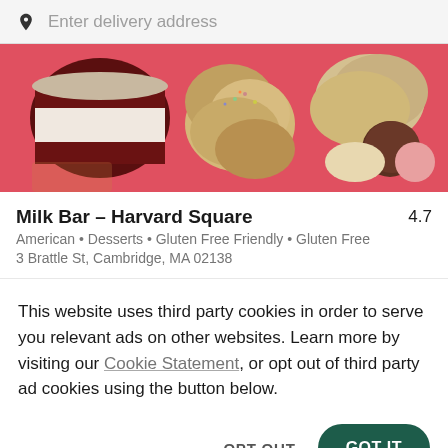Enter delivery address
[Figure (photo): Photo of assorted desserts and cookies from Milk Bar, including a red velvet layer cake with cream filling, various stuffed cookies, and chocolate truffles on a pink background]
Milk Bar - Harvard Square   4.7
American · Desserts · Gluten Free Friendly · Gluten Free
3 Brattle St, Cambridge, MA 02138
This website uses third party cookies in order to serve you relevant ads on other websites. Learn more by visiting our Cookie Statement, or opt out of third party ad cookies using the button below.